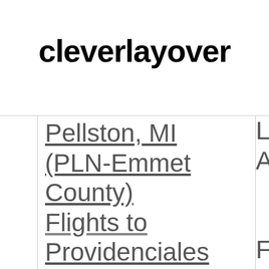cleverlayover
Pellston, MI (PLN-Emmet County) Flights to Providenciales Island, Turks and